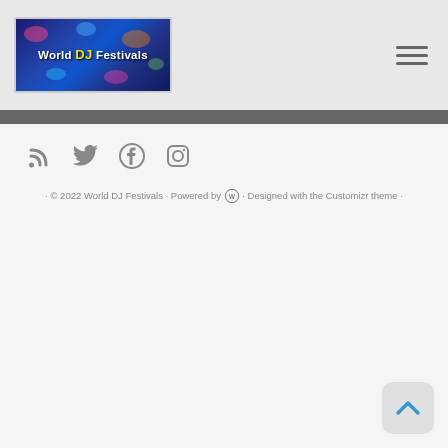[Figure (logo): World DJ Festivals logo — dark blue starfield background with colorful text reading 'World DJ Festivals']
[Figure (other): Hamburger menu icon — three horizontal dark gray lines]
[Figure (other): Social media icons: RSS feed, Twitter bird, Facebook F, Instagram camera — all in gray]
· © 2022 World DJ Festivals · Powered by [WordPress] · Designed with the Customizr theme ·